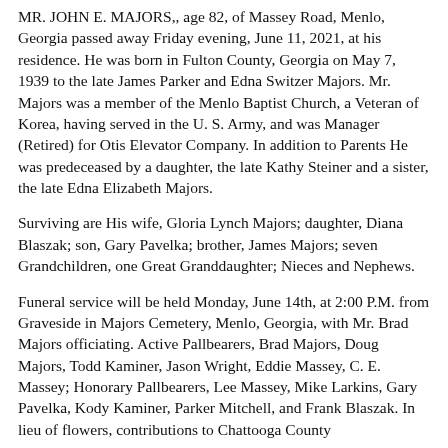MR. JOHN E. MAJORS,, age 82, of Massey Road, Menlo, Georgia passed away Friday evening, June 11, 2021, at his residence. He was born in Fulton County, Georgia on May 7, 1939 to the late James Parker and Edna Switzer Majors. Mr. Majors was a member of the Menlo Baptist Church, a Veteran of Korea, having served in the U. S. Army, and was Manager (Retired) for Otis Elevator Company. In addition to Parents He was predeceased by a daughter, the late Kathy Steiner and a sister, the late Edna Elizabeth Majors.
Surviving are His wife, Gloria Lynch Majors; daughter, Diana Blaszak; son, Gary Pavelka; brother, James Majors; seven Grandchildren, one Great Granddaughter; Nieces and Nephews.
Funeral service will be held Monday, June 14th, at 2:00 P.M. from Graveside in Majors Cemetery, Menlo, Georgia, with Mr. Brad Majors officiating. Active Pallbearers, Brad Majors, Doug Majors, Todd Kaminer, Jason Wright, Eddie Massey, C. E. Massey; Honorary Pallbearers, Lee Massey, Mike Larkins, Gary Pavelka, Kody Kaminer, Parker Mitchell, and Frank Blaszak. In lieu of flowers, contributions to Chattooga County